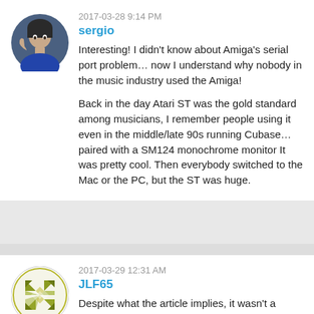2017-03-28 9:14 PM
sergio
Interesting! I didn't know about Amiga's serial port problem… now I understand why nobody in the music industry used the Amiga!

Back in the day Atari ST was the gold standard among musicians, I remember people using it even in the middle/late 90s running Cubase… paired with a SM124 monochrome monitor It was pretty cool. Then everybody switched to the Mac or the PC, but the ST was huge.
2017-03-29 12:31 AM
JLF65
Despite what the article implies, it wasn't a hardware bug. There was nothing wrong with the hardware, it